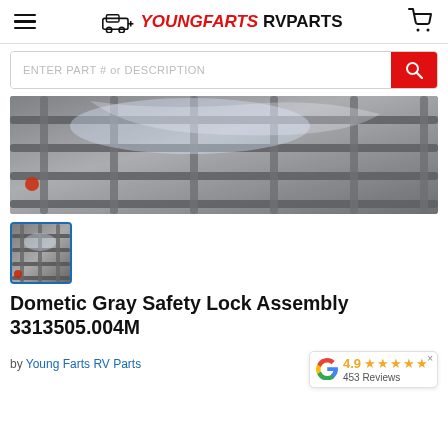YOUNGFARTS RVPARTS
[Figure (screenshot): Search bar with 'ENTER PART # or DESCRIPTION' placeholder and red search button]
[Figure (photo): Close-up photo of steel rack/grid structure with plastic bags, product display image for Dometic Gray Safety Lock Assembly]
[Figure (photo): Thumbnail image of the same steel rack product with blue border indicating selected state]
Dometic Gray Safety Lock Assembly 3313505.004M
by Young Farts RV Parts
4.9 ★★★★★ 453 Reviews